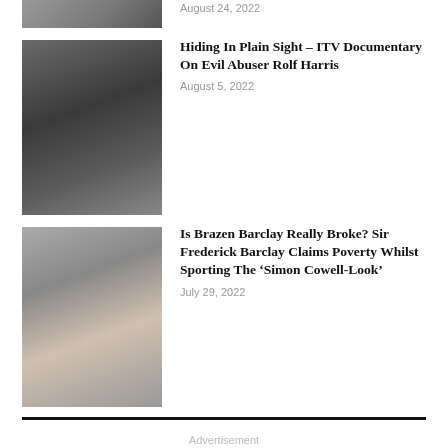[Figure (photo): Partially visible thumbnail photo at top]
August 24, 2022
[Figure (photo): Two people sitting, one with blonde hair, one in dark suit]
Hiding In Plain Sight – ITV Documentary On Evil Abuser Rolf Harris
August 5, 2022
[Figure (photo): Two people standing outdoors, one in red trousers and one in dark outfit]
Is Brazen Barclay Really Broke? Sir Frederick Barclay Claims Poverty Whilst Sporting The ‘Simon Cowell-Look’
July 29, 2022
Advertisement